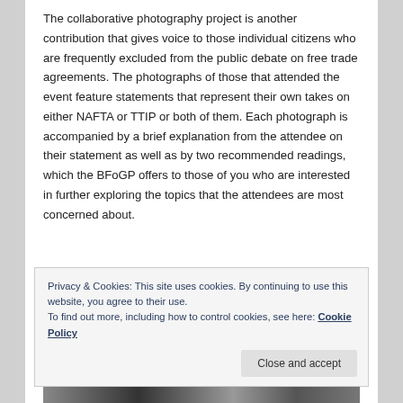The collaborative photography project is another contribution that gives voice to those individual citizens who are frequently excluded from the public debate on free trade agreements. The photographs of those that attended the event feature statements that represent their own takes on either NAFTA or TTIP or both of them. Each photograph is accompanied by a brief explanation from the attendee on their statement as well as by two recommended readings, which the BFoGP offers to those of you who are interested in further exploring the topics that the attendees are most concerned about.
REFLECTING ON NAFTA TO BETTER UNDERSTAND
[Figure (photo): Black and white photo strip visible at bottom of page, partially obscured by cookie banner]
Privacy & Cookies: This site uses cookies. By continuing to use this website, you agree to their use.
To find out more, including how to control cookies, see here: Cookie Policy